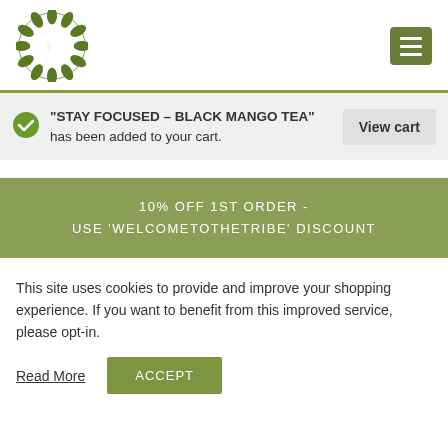[Figure (logo): Circular green tea leaf logo with white droplet center]
"STAY FOCUSED – BLACK MANGO TEA" has been added to your cart.
View cart
10% OFF 1ST ORDER - USE 'WELCOMETOTHETRIBE' DISCOUNT
This site uses cookies to provide and improve your shopping experience. If you want to benefit from this improved service, please opt-in.
Read More
ACCEPT